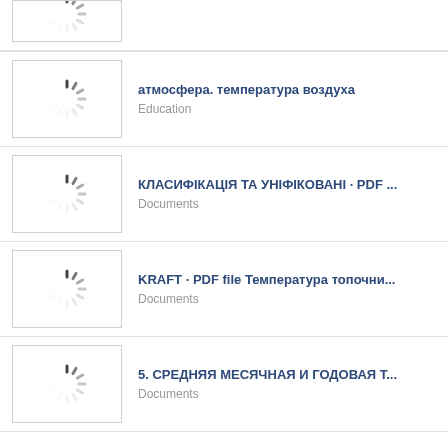(partial item at top)
атмосфера. температура воздуха — Education
КЛАСИФІКАЦІЯ ТА УНІФІКОВАНІ · PDF ... — Documents
KRAFT · PDF file Температра топочни... — Documents
5. СРЕДНЯЯ МЕСЯЧНАЯ И ГОДОВАЯ Т... — Documents